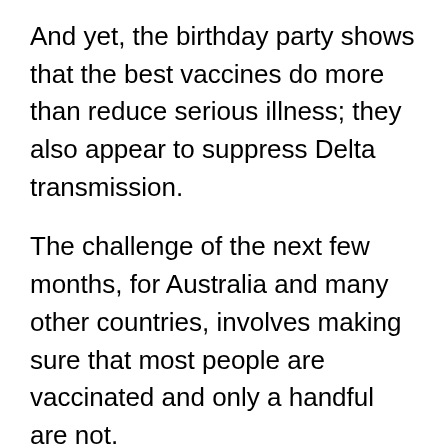And yet, the birthday party shows that the best vaccines do more than reduce serious illness; they also appear to suppress Delta transmission.
The challenge of the next few months, for Australia and many other countries, involves making sure that most people are vaccinated and only a handful are not.
When that happens, public health researchers said, deaths, not infections, should become the measurement for policy.
“It used to be that Covid would kill one